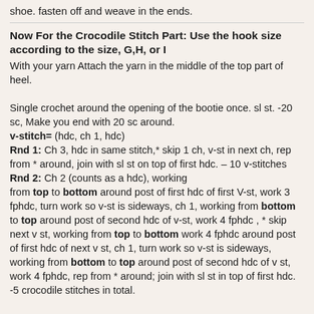shoe. fasten off and weave in the ends.
Now For the Crocodile Stitch Part: Use the hook size according to the size, G,H, or I
With your yarn Attach the yarn in the middle of the top part of heel.

Single crochet around the opening of the bootie once. sl st. -20 sc, Make you end with 20 sc around.
v-stitch= (hdc, ch 1, hdc)
Rnd 1: Ch 3, hdc in same stitch,* skip 1 ch, v-st in next ch, rep from * around, join with sl st on top of first hdc. – 10 v-stitches
Rnd 2: Ch 2 (counts as a hdc), working from top to bottom around post of first hdc of first V-st, work 3 fphdc, turn work so v-st is sideways, ch 1, working from bottom to top around post of second hdc of v-st, work 4 fphdc , * skip next v st, working from top to bottom work 4 fphdc around post of first hdc of next v st, ch 1, turn work so v-st is sideways, working from bottom to top around post of second hdc of v st, work 4 fphdc, rep from * around; join with sl st in top of first hdc. -5 crocodile stitches in total.

Rnd 3: Ch 3, hdc in same st, insert hook in space in the